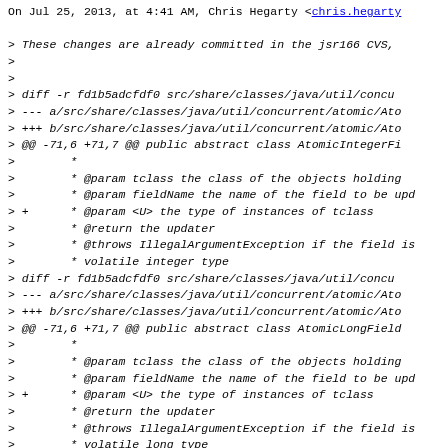On Jul 25, 2013, at 4:41 AM, Chris Hegarty <chris.hegarty
> These changes are already committed in the jsr166 CVS,
>
>
> diff -r fd1b5adcfdf0 src/share/classes/java/util/concu
> --- a/src/share/classes/java/util/concurrent/atomic/Ato
> +++ b/src/share/classes/java/util/concurrent/atomic/Ato
> @@ -71,6 +71,7 @@ public abstract class AtomicIntegerFi
>        *
>        * @param tclass the class of the objects holding
>        * @param fieldName the name of the field to be upd
> +      * @param <U> the type of instances of tclass
>        * @return the updater
>        * @throws IllegalArgumentException if the field is
>        * volatile integer type
> diff -r fd1b5adcfdf0 src/share/classes/java/util/concu
> --- a/src/share/classes/java/util/concurrent/atomic/Ato
> +++ b/src/share/classes/java/util/concurrent/atomic/Ato
> @@ -71,6 +71,7 @@ public abstract class AtomicLongField
>        *
>        * @param tclass the class of the objects holding
>        * @param fieldName the name of the field to be upd
> +      * @param <U> the type of instances of tclass
>        * @return the updater
>        * @throws IllegalArgumentException if the field is
>        * volatile long type
> diff -r fd1b5adcfdf0 src/share/classes/java/util/concu
> --- a/src/share/classes/java/util/concurrent/atomic/Ato